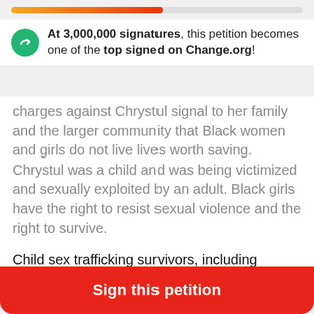[Figure (infographic): Progress bar showing partial fill from orange to red gradient on a gray track]
At 3,000,000 signatures, this petition becomes one of the top signed on Change.org!
charges against Chrystul signal to her family and the larger community that Black women and girls do not live lives worth saving. Chrystul was a child and was being victimized and sexually exploited by an adult. Black girls have the right to resist sexual violence and the right to survive.
Child sex trafficking survivors, including Chrystul, need community and comprehensive support to heal from the trauma and violence they have endured. Incarceration at this young, formative age does not provide needed healing, it compounds trauma. In no report on child sex trafficking that we are aware of is
Sign this petition